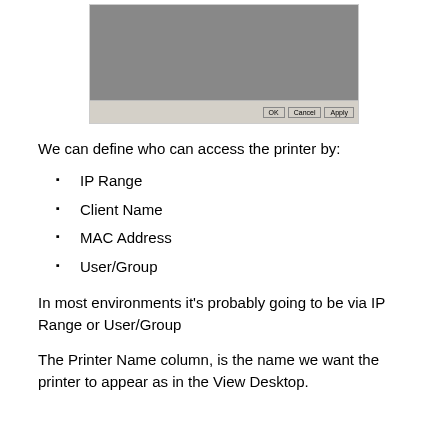[Figure (screenshot): A dialog window screenshot showing a configuration interface with a grey content area and a bottom button bar containing OK, Cancel, and Apply buttons.]
We can define who can access the printer by:
IP Range
Client Name
MAC Address
User/Group
In most environments it's probably going to be via IP Range or User/Group
The Printer Name column, is the name we want the printer to appear as in the View Desktop.